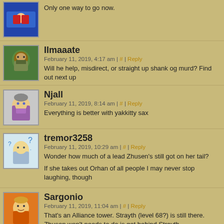Only one way to go now.
Ilmaaate
February 11, 2019, 4:17 am | # | Reply
Will he help, misdirect, or straight up shank og murd? Find out next u
Njall
February 11, 2019, 8:14 am | # | Reply
Everything is better with yakkitty sax
tremor3258
February 11, 2019, 10:29 am | # | Reply
Wonder how much of a lead Zhusen's still got on her tail?
If she takes out Orhan of all people I may never stop laughing, though
Sargonio
February 11, 2019, 11:04 am | # | Reply
That's an Alliance tower. Strayth (level 68?) is still there. Zhusen won't needs to do is get behind Strayth.
MurderBane may stop following Zhusen soon. (M.B. also greets Casto Castor used earlier on Theron.)